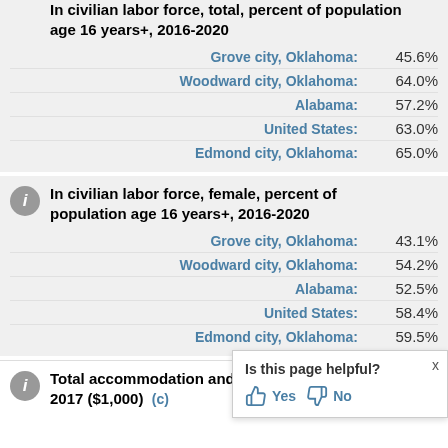In civilian labor force, total, percent of population age 16 years+, 2016-2020
Grove city, Oklahoma: 45.6%
Woodward city, Oklahoma: 64.0%
Alabama: 57.2%
United States: 63.0%
Edmond city, Oklahoma: 65.0%
In civilian labor force, female, percent of population age 16 years+, 2016-2020
Grove city, Oklahoma: 43.1%
Woodward city, Oklahoma: 54.2%
Alabama: 52.5%
United States: 58.4%
Edmond city, Oklahoma: 59.5%
Total accommodation and food services sales, 2017 ($1,000)
Is this page helpful? Yes No